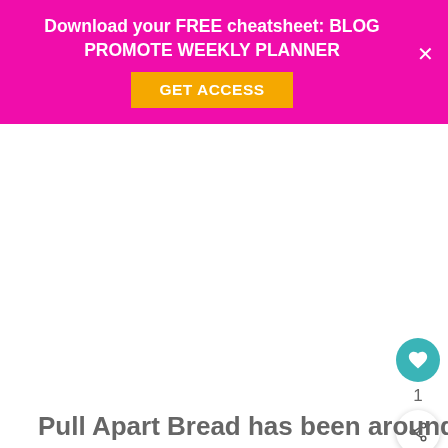Download your FREE cheatsheet: BLOG PROMOTE WEEKLY PLANNER
[Figure (screenshot): White empty image area below the pink banner, representing a webpage content area]
Pull Apart Bread has been around for